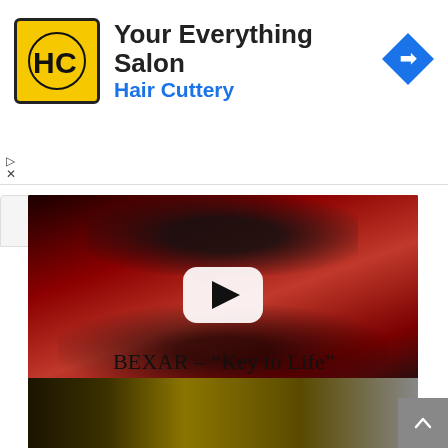[Figure (screenshot): Hair Cuttery advertisement banner. Yellow square logo with HC text, heading 'Your Everything Salon', subheading 'Hair Cuttery' in blue, blue navigation/directions diamond icon on right. Play and close ad controls on left.]
[Figure (screenshot): Video thumbnail with dark background featuring a figure on red backdrop, upside-down composition. White YouTube-style play button in center. Chevron-up collapse button on upper left.]
BEXAR – “Key to Life”
[Figure (screenshot): Partial video thumbnail showing dark background with yellow/green stylized imagery, partially visible. Scroll-to-top arrow button on bottom right.]